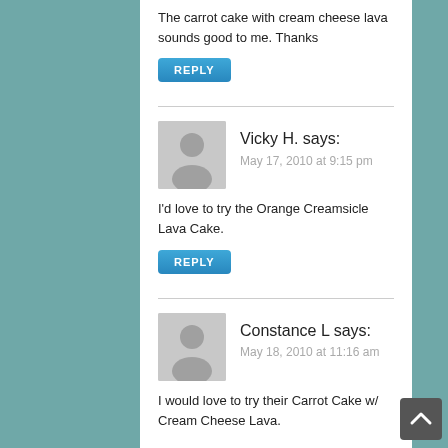The carrot cake with cream cheese lava sounds good to me. Thanks
REPLY
Vicky H. says:
May 17, 2010 at 9:15 pm
I'd love to try the Orange Creamsicle Lava Cake.
REPLY
Constance L says:
May 18, 2010 at 11:16 am
I would love to try their Carrot Cake w/ Cream Cheese Lava.